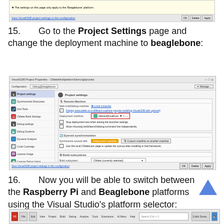[Figure (screenshot): Top portion of a VisualGDB Project Properties dialog showing Beaglebone configuration - bottom bar with link and OK/Delete/Apply buttons]
15. Go to the Project Settings page and change the deployment machine to beaglebone:
[Figure (screenshot): VisualGDB Project Properties dialog - CMakeMultiplatformDemo - Debug@beaglebone configuration, showing Project Settings with Remote Machine section. Deployment machine set to debian@localhost with red border highlight. Sections shown: Remote Machine, Sysroot synchronization, Build subsystems.]
16. Now you will be able to switch between the Raspberry Pi and Beaglebone platforms using the Visual Studio's platform selector:
[Figure (screenshot): Bottom portion of Visual Studio IDE taskbar/toolbar]